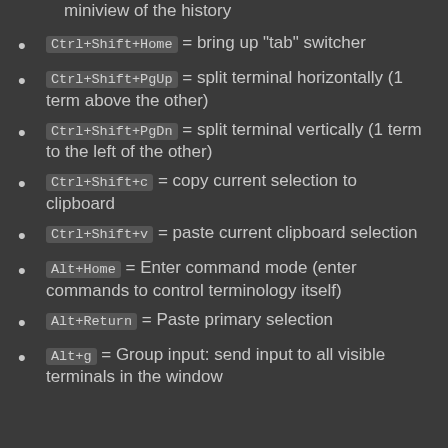miniview of the history (partial, top cut off)
Ctrl+Shift+Home = bring up "tab" switcher
Ctrl+Shift+PgUp = split terminal horizontally (1 term above the other)
Ctrl+Shift+PgDn = split terminal vertically (1 term to the left of the other)
Ctrl+Shift+c = copy current selection to clipboard
Ctrl+Shift+v = paste current clipboard selection
Alt+Home = Enter command mode (enter commands to control terminology itself)
Alt+Return = Paste primary selection
Alt+g = Group input: send input to all visible terminals in the window